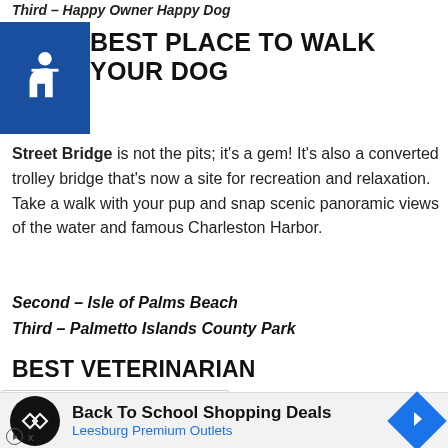Third – Happy Owner Happy Dog
BEST PLACE TO WALK YOUR DOG
Street Bridge is not the pits; it's a gem! It's also a converted trolley bridge that's now a site for recreation and relaxation. Take a walk with your pup and snap scenic panoramic views of the water and famous Charleston Harbor.
Second – Isle of Palms Beach
Third – Palmetto Islands County Park
BEST VETERINARIAN
h your pet needs medical care, you want the humans
[Figure (screenshot): Ad banner: Back To School Shopping Deals – Leesburg Premium Outlets, with logo and navigation icon]